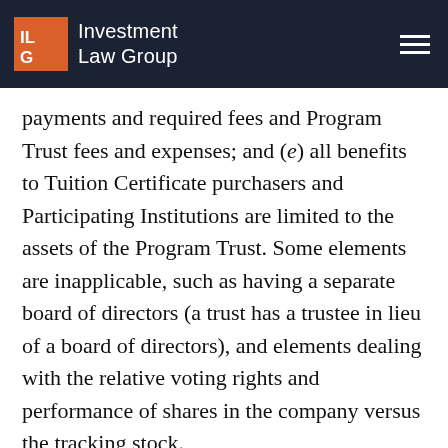Investment Law Group
payments and required fees and Program Trust fees and expenses; and (e) all benefits to Tuition Certificate purchasers and Participating Institutions are limited to the assets of the Program Trust. Some elements are inapplicable, such as having a separate board of directors (a trust has a trustee in lieu of a board of directors), and elements dealing with the relative voting rights and performance of shares in the company versus the tracking stock.